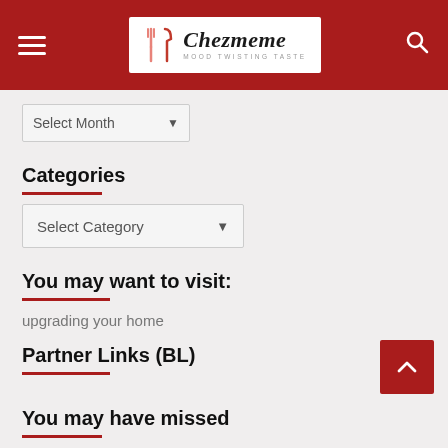Chezmeme — MOOD TWISTING TASTE
Select Month
Categories
Select Category
You may want to visit:
upgrading your home
Partner Links (BL)
You may have missed